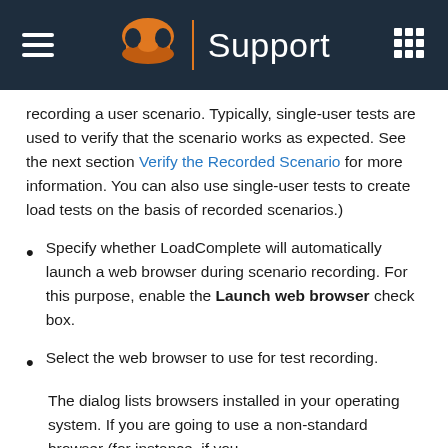Support
recording a user scenario. Typically, single-user tests are used to verify that the scenario works as expected. See the next section Verify the Recorded Scenario for more information. You can also use single-user tests to create load tests on the basis of recorded scenarios.)
Specify whether LoadComplete will automatically launch a web browser during scenario recording. For this purpose, enable the Launch web browser check box.
Select the web browser to use for test recording.
The dialog lists browsers installed in your operating system. If you are going to use a non-standard browser (for instance, if you